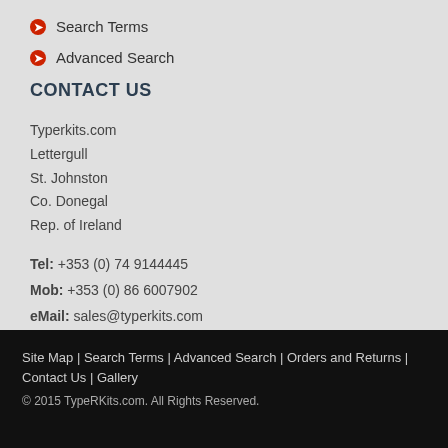Search Terms
Advanced Search
CONTACT US
Typerkits.com
Lettergull
St. Johnston
Co. Donegal
Rep. of Ireland
Tel:  +353 (0) 74 9144445
Mob: +353 (0) 86 6007902
eMail: sales@typerkits.com
Site Map  |  Search Terms  |  Advanced Search  |  Orders and Returns  |  Contact Us  |  Gallery
© 2015 TypeRKits.com. All Rights Reserved.